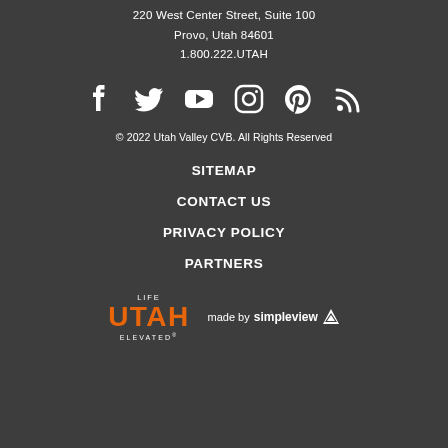220 West Center Street, Suite 100
Provo, Utah 84601
1.800.222.UTAH
[Figure (infographic): Row of social media icons: Facebook, Twitter, YouTube, Instagram, Pinterest, RSS feed — all white on dark background]
© 2022 Utah Valley CVB. All Rights Reserved
SITEMAP
CONTACT US
PRIVACY POLICY
PARTNERS
[Figure (logo): Utah Life Elevated logo in orange and white, and 'made by simpleview' badge with triangular icon]